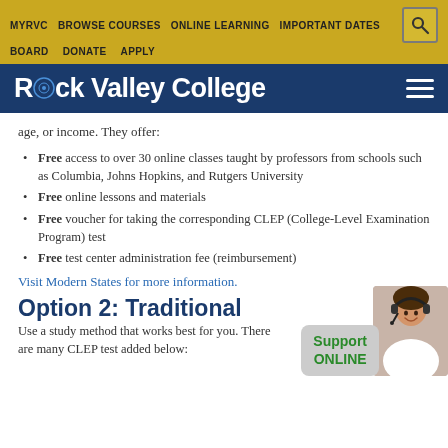MYRVC  BROWSE COURSES  ONLINE LEARNING  IMPORTANT DATES  BOARD  DONATE  APPLY
[Figure (logo): Rock Valley College logo on dark blue background with hamburger menu icon]
age, or income. They offer:
Free access to over 30 online classes taught by professors from schools such as Columbia, Johns Hopkins, and Rutgers University
Free online lessons and materials
Free voucher for taking the corresponding CLEP (College-Level Examination Program) test
Free test center administration fee (reimbursement)
Visit Modern States for more information.
Option 2: Traditional
Use a study method that works best for you. There are many CLEP test added below:
[Figure (photo): Support ONLINE widget with photo of woman wearing headset smiling]